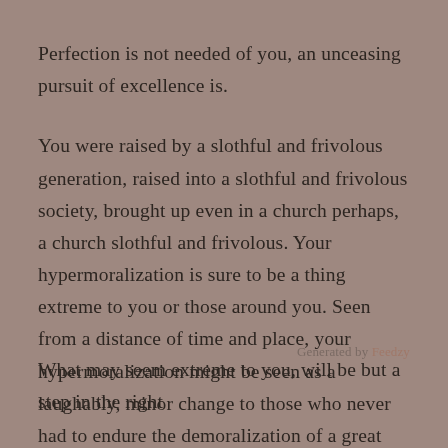Perfection is not needed of you, an unceasing pursuit of excellence is.
You were raised by a slothful and frivolous generation, raised into a slothful and frivolous society, brought up even in a church perhaps, a church slothful and frivolous. Your hypermoralization is sure to be a thing extreme to you or those around you. Seen from a distance of time and place, your hypermoralization might be seen as a laughably, minor change to those who never had to endure the demoralization of a great people that you have had to endure. Your efforts at hypermoralization will be laughable to those who know better, to those who never turned astray.
Generated by Feedzy
What may seem extreme to you, will be but a step in the right